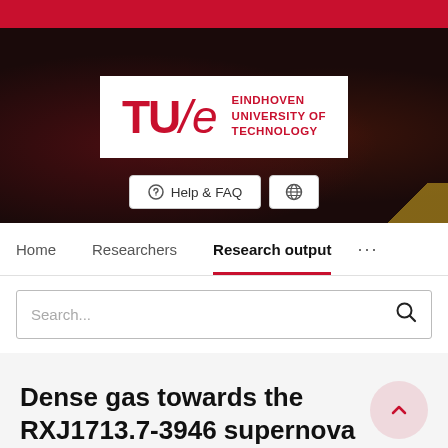[Figure (logo): TU/e Eindhoven University of Technology logo on dark background with red top bar and UI buttons (Help & FAQ, globe)]
Home   Researchers   Research output   ...
Search...
Dense gas towards the RXJ1713.7-3946 supernova remnant